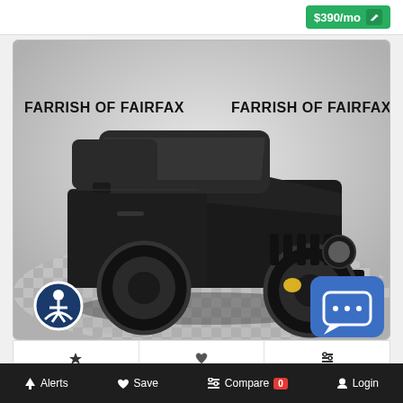$390/mo
[Figure (photo): Black Jeep Wrangler 2-door SUV parked on a checkered floor showroom, photographed from a 3/4 front angle. Watermarks read FARRISH OF FAIRFAX on both left and right sides. Accessibility icon in lower left corner, chat button in lower right corner.]
Alerts  Save  Compare 0  Login